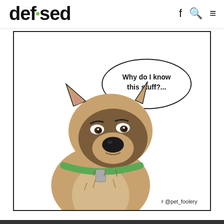defused — with social icons (f, search, menu)
[Figure (illustration): A cartoon dog with a grumpy/confused expression, wearing a green collar with a tag, with a speech bubble saying 'Why do I know this stuff?...' and an Instagram watermark '@pet_foolery' in the bottom right corner.]